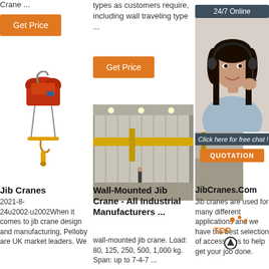Crane ...
Get Price
[Figure (photo): Orange/red chain hoist crane with yellow hook bar and cables]
types as customers require, including wall traveling type ...
Get Price
[Figure (photo): Industrial warehouse interior with yellow overhead crane beam]
[Figure (photo): Partial view of crane in industrial setting]
24/7 Online
[Figure (photo): Woman with headset smiling, customer service representative]
Click here for free chat !
QUOTATION
Jib Cranes
2021-8-24u2002·u2002When it comes to jib crane design and manufacturing, Pelloby are UK market leaders. We
Wall-Mounted Jib Crane - All Industrial Manufacturers ...
wall-mounted jib crane. Load: 80, 125, 250, 500, 1,000 kg. Span: up to 7-4-7 ...
JibCranes.Com
Jib cranes are used for many different applications and we have the best selection of accessories to help get your job done.